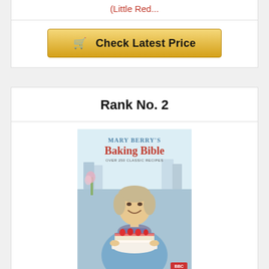(Little Red...
Check Latest Price
Rank No. 2
[Figure (photo): Book cover of Mary Berry's Baking Bible showing Mary Berry holding a strawberry cake]
Mary Berry's Baking Bible: Over 250 Classic Recipes
Check Latest Price